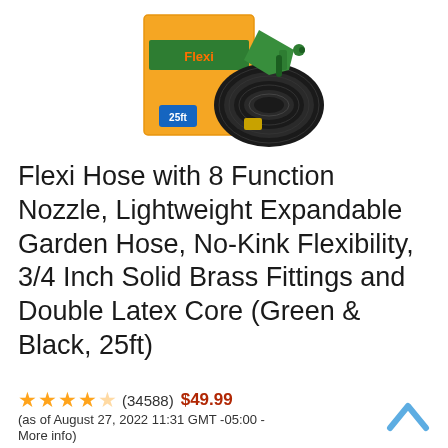[Figure (photo): Product image of Flexi Hose expandable garden hose with green nozzle and packaging box showing 25ft label]
Flexi Hose with 8 Function Nozzle, Lightweight Expandable Garden Hose, No-Kink Flexibility, 3/4 Inch Solid Brass Fittings and Double Latex Core (Green & Black, 25ft)
★★★★☆ (34588)  $49.99  (as of August 27, 2022 11:31 GMT -05:00 - More info)